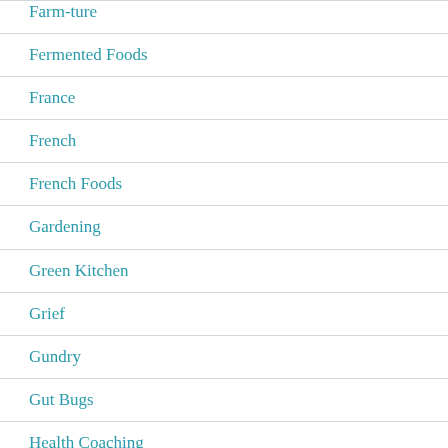Fermented Foods
France
French
French Foods
Gardening
Green Kitchen
Grief
Gundry
Gut Bugs
Health Coaching